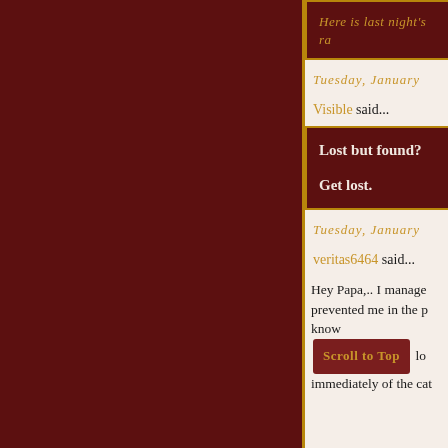Here is last night's ra...
Tuesday, January
Visible said...
Lost but found?

Get lost.
Tuesday, January
veritas6464 said...
Hey Papa,.. I manage... prevented me in the p... know... lo... immediately of the cat...
Scroll to Top